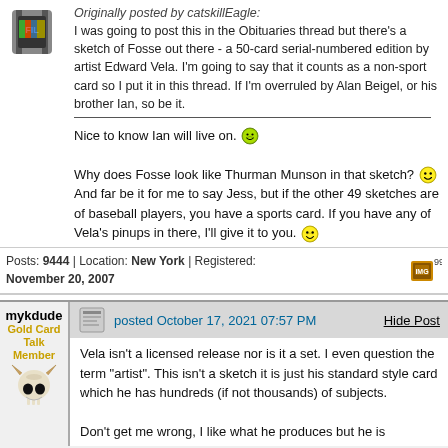Originally posted by catskillEagle:
I was going to post this in the Obituaries thread but there's a sketch of Fosse out there - a 50-card serial-numbered edition by artist Edward Vela. I'm going to say that it counts as a non-sport card so I put it in this thread. If I'm overruled by Alan Beigel, or his brother Ian, so be it.
Nice to know Ian will live on. [smiley] Why does Fosse look like Thurman Munson in that sketch? [smiley] And far be it for me to say Jess, but if the other 49 sketches are of baseball players, you have a sports card. If you have any of Vela's pinups in there, I'll give it to you. [smiley]
Posts: 9444 | Location: New York | Registered: November 20, 2007
mykdude
Gold Card Talk Member
posted October 17, 2021 07:57 PM
Hide Post
Vela isn't a licensed release nor is it a set. I even question the term "artist". This isn't a sketch it is just his standard style card which he has hundreds (if not thousands) of subjects.
Don't get me wrong, I like what he produces but he is